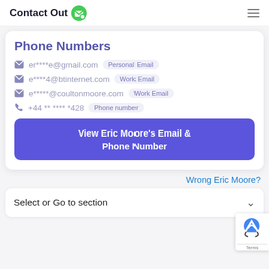ContactOut [logo]
Phone Numbers
er****e@gmail.com  Personal Email
e****4@btinternet.com  Work Email
e*****@coultonmoore.com  Work Email
+44 ** **** *428  Phone number
View Eric Moore's Email & Phone Number
Wrong Eric Moore?
Select or Go to section